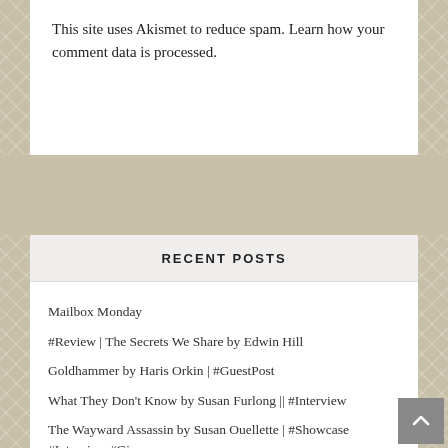This site uses Akismet to reduce spam. Learn how your comment data is processed.
RECENT POSTS
Mailbox Monday
#Review | The Secrets We Share by Edwin Hill
Goldhammer by Haris Orkin | #GuestPost
What They Don't Know by Susan Furlong || #Interview
The Wayward Assassin by Susan Ouellette | #Showcase #Interview #Giveaway
WELCOME